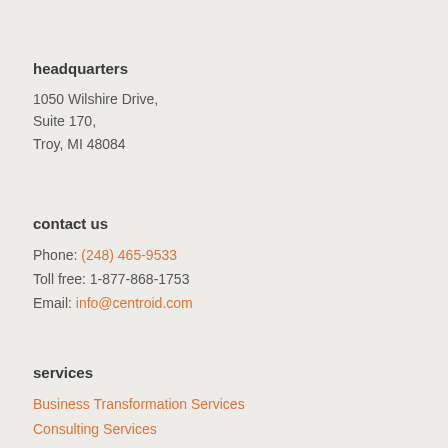headquarters
1050 Wilshire Drive,
Suite 170,
Troy, MI 48084
contact us
Phone: (248) 465-9533
Toll free: 1-877-868-1753
Email: info@centroid.com
services
Business Transformation Services
Consulting Services
Managed Cloud Services